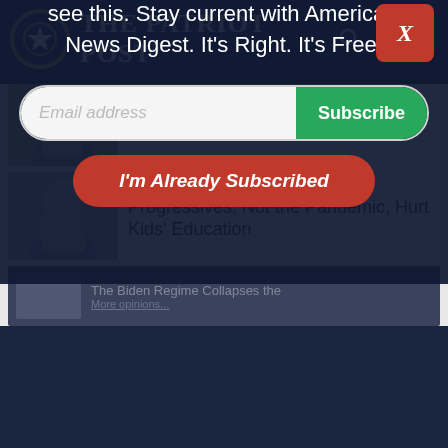The Patriot Post
MICHAEL REAGAN
Shooting Back at President Biden
ERICK ERICKSON
Progressives, Not the Pandemic, Hurt Kids' Education
Resist Big Tech
Facebook and Google don't want you to see this. Stay current with America's News Digest. It's Right. It's Free.
Email address | Subscribe
I'm Already Subscribed